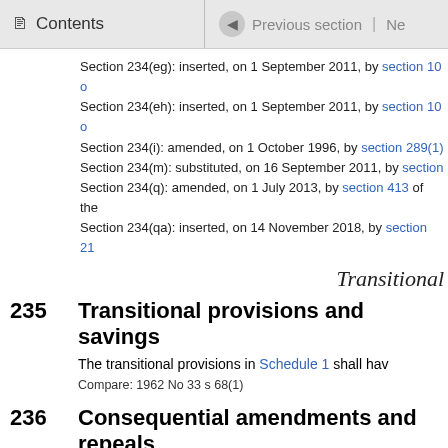Contents | Previous section | Ne
Section 234(eg): inserted, on 1 September 2011, by section 10 o
Section 234(eh): inserted, on 1 September 2011, by section 10 o
Section 234(i): amended, on 1 October 1996, by section 289(1)
Section 234(m): substituted, on 16 September 2011, by section
Section 234(q): amended, on 1 July 2013, by section 413 of the
Section 234(qa): inserted, on 14 November 2018, by section 21
Transitional
235 Transitional provisions and savings
The transitional provisions in Schedule 1 shall hav
Compare: 1962 No 33 s 68(1)
236 Consequential amendments and repeals
(1) The enactments specified in Schedule 2 are hereby
(2) The enactments specified in Schedule 3 are hereby
(3) The regulations specified in Schedule 4 are hereby